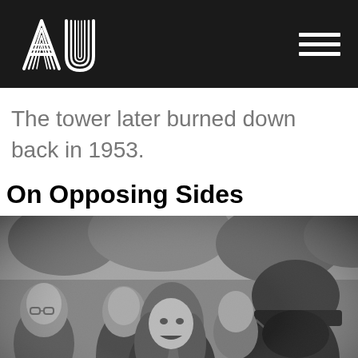AU logo and navigation menu
The tower later burned down back in 1953.
On Opposing Sides
[Figure (photo): Black and white photograph of a confrontation between a long-haired young protester and a helmeted police officer, surrounded by a crowd, circa late 1960s or early 1970s.]